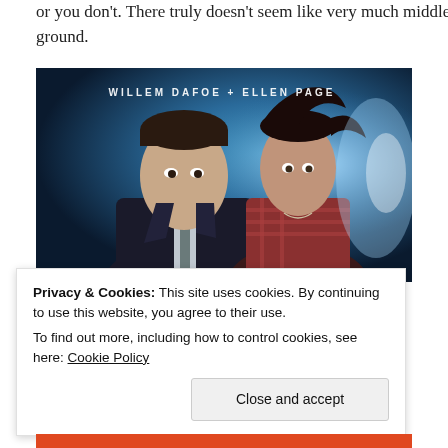or you don't. There truly doesn't seem like very much middle ground.
[Figure (photo): Movie promotional image showing Willem Dafoe and Ellen Page against a blue sci-fi background. Text at top reads 'WILLEM DAFOE + ELLEN PAGE'.]
Privacy & Cookies: This site uses cookies. By continuing to use this website, you agree to their use.
To find out more, including how to control cookies, see here: Cookie Policy
Close and accept